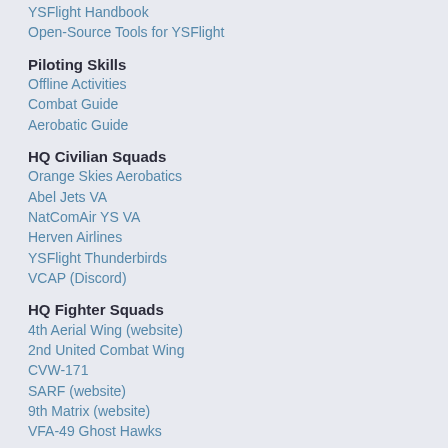YSFlight Handbook
Open-Source Tools for YSFlight
Piloting Skills
Offline Activities
Combat Guide
Aerobatic Guide
HQ Civilian Squads
Orange Skies Aerobatics
Abel Jets VA
NatComAir YS VA
Herven Airlines
YSFlight Thunderbirds
VCAP (Discord)
HQ Fighter Squads
4th Aerial Wing (website)
2nd United Combat Wing
CVW-171
SARF (website)
9th Matrix (website)
VFA-49 Ghost Hawks
Related YS Sites
Decaff's YSFlight Website
Taskforce58's Hangar
Turbofan's Terminal